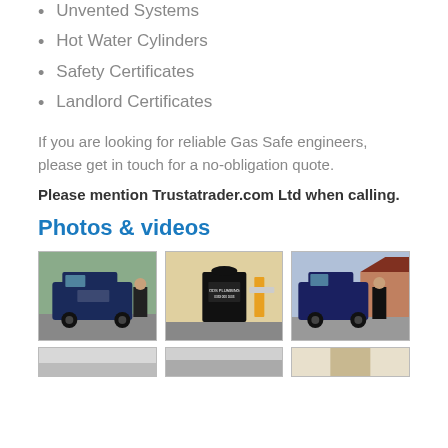Unvented Systems
Hot Water Cylinders
Safety Certificates
Landlord Certificates
If you are looking for reliable Gas Safe engineers, please get in touch for a no-obligation quote.
Please mention Trustatrader.com Ltd when calling.
Photos & videos
[Figure (photo): Grid of photos showing a plumbing/gas engineer: a blue branded van with a person standing beside it, a person shown from behind wearing a branded uniform working on gas pipes/meters, and another van with person on a street. Partial row of additional photos visible at the bottom.]